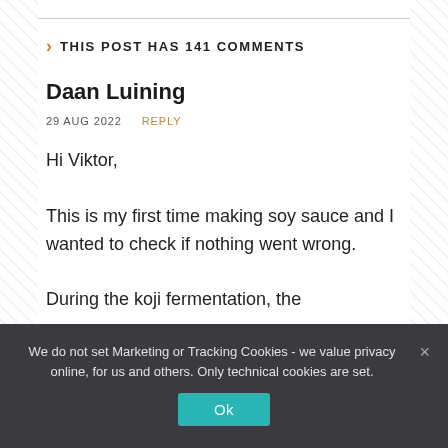THIS POST HAS 141 COMMENTS
Daan Luining
29 AUG 2022   REPLY
Hi Viktor,

This is my first time making soy sauce and I wanted to check if nothing went wrong.

During the koji fermentation, the
We do not set Marketing or Tracking Cookies - we value privacy online, for us and others. Only technical cookies are set.
Ok